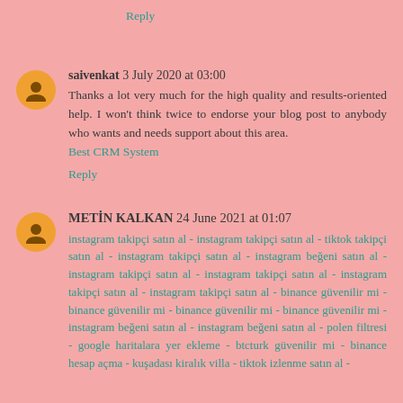Reply
saivenkat 3 July 2020 at 03:00
Thanks a lot very much for the high quality and results-oriented help. I won't think twice to endorse your blog post to anybody who wants and needs support about this area. Best CRM System
Reply
METIN KALKAN 24 June 2021 at 01:07
instagram takipçi satın al - instagram takipçi satın al - tiktok takipçi satın al - instagram takipçi satın al - instagram beğeni satın al - instagram takipçi satın al - instagram takipçi satın al - instagram takipçi satın al - instagram takipçi satın al - binance güvenilir mi - binance güvenilir mi - binance güvenilir mi - binance güvenilir mi - instagram beğeni satın al - instagram beğeni satın al - polen filtresi - google haritalara yer ekleme - btcturk güvenilir mi - binance hesap açma - kuşadası kiralık villa - tiktok izlenme satın al -